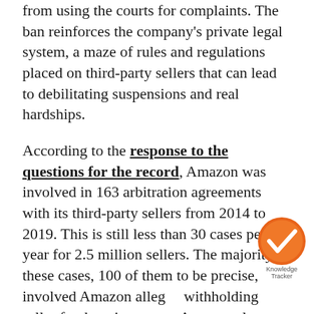from using the courts for complaints. The ban reinforces the company's private legal system, a maze of rules and regulations placed on third-party sellers that can lead to debilitating suspensions and real hardships.
According to the response to the questions for the record, Amazon was involved in 163 arbitration agreements with its third-party sellers from 2014 to 2019. This is still less than 30 cases per year for 2.5 million sellers. The majority of these cases, 100 of them to be precise, involved Amazon allegedly withholding seller funds or inventory. Account closure or suspension accounted for 22 cases, and reimbursement for lost or damaged inventory another 16. The rest of the cases involved